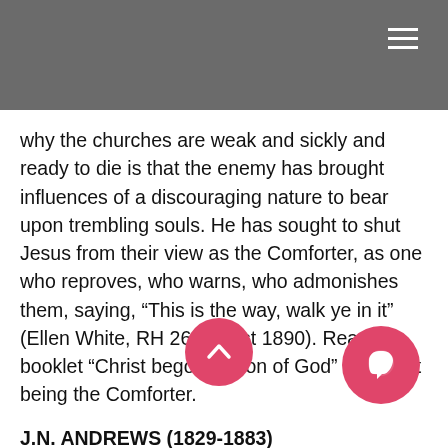why the churches are weak and sickly and ready to die is that the enemy has brought influences of a discouraging nature to bear upon trembling souls. He has sought to shut Jesus from their view as the Comforter, as one who reproves, who warns, who admonishes them, saying, “This is the way, walk ye in it” (Ellen White, RH 26 August 1890). Read booklet “Christ begotten Son of God” on Christ being the Comforter.
J.N. ANDREWS (1829-1883)
“And as to the Son of God, he could be excluded also, for he had God for His Father, and did, at some point in the eternity of the past, have beginning of days. So that if we use Paul’s language in an absolute sense, it would be